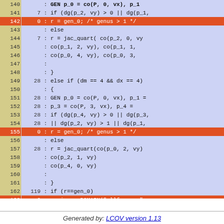[Figure (screenshot): Code coverage viewer showing source lines 140-165 with line numbers, hit counts, colon separators, and C source code. Lines 142, 155, and 163 highlighted in red (0 hits). Other lines in blue background. Line number column in yellow background.]
Generated by: LCOV version 1.13